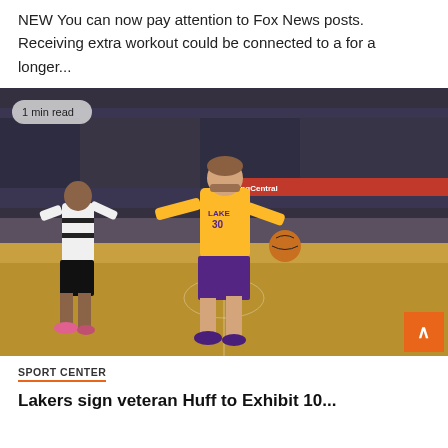NEW You can now pay attention to Fox News posts. Receiving extra workout could be connected to a for a longer...
[Figure (photo): NBA basketball game photo showing a Lakers player wearing jersey #30 in yellow dribbling the ball, defended by a player in white and black uniform. Arena crowd visible in background. RingCentral banner visible. Badge overlay reads '1 min read'. Orange scroll-to-top button in bottom right corner.]
SPORT CENTER
Lakers sign veteran Huff to Exhibit 10...